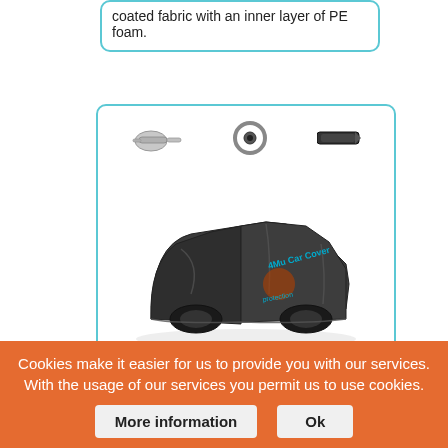coated fabric with an inner layer of PE foam.
[Figure (photo): Product card showing a dark grey Universal Pickup Truck Hail Cover with accessories (clip, ring, magnetic strip) above the truck cover image, and thickness label below.]
Thickness: 0.2-0.8 in (5-20 mm)
Universal Pickup Truck Hail Cover
Cookies make it easier for us to provide you with our services. With the usage of our services you permit us to use cookies.
More information
Ok